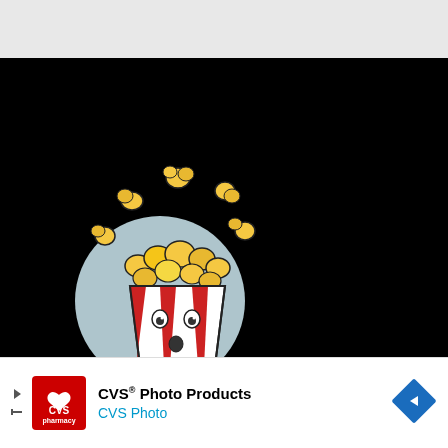[Figure (logo): What The Popcorn logo: animated popcorn bucket with red and white stripes, surprised face expression, popcorn flying out the top, on a black background. Text reads 'WHAT THE POPCORN' in white handwritten-style font.]
[Figure (other): CVS Photo Products advertisement banner with CVS pharmacy logo, text 'CVS® Photo Products' and 'CVS Photo', with navigation arrows and a blue diamond direction sign icon.]